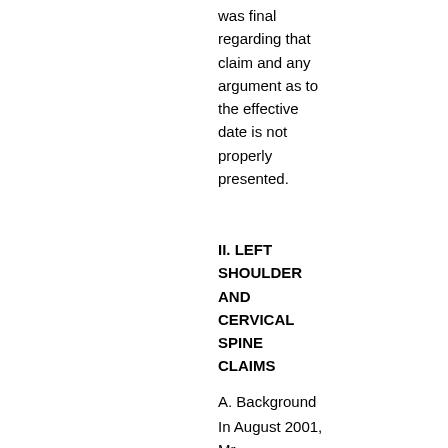was final regarding that claim and any argument as to the effective date is not properly presented.
II. LEFT SHOULDER AND CERVICAL SPINE CLAIMS
A. Background
In August 2001, Mr. VanWagenen,